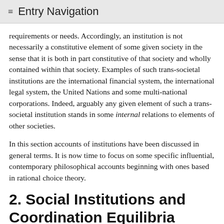≡ Entry Navigation
requirements or needs. Accordingly, an institution is not necessarily a constitutive element of some given society in the sense that it is both in part constitutive of that society and wholly contained within that society. Examples of such trans-societal institutions are the international financial system, the international legal system, the United Nations and some multi-national corporations. Indeed, arguably any given element of such a trans-societal institution stands in some internal relations to elements of other societies.
In this section accounts of institutions have been discussed in general terms. It is now time to focus on some specific influential, contemporary philosophical accounts beginning with ones based in rational choice theory.
2. Social Institutions and Coordination Equilibria